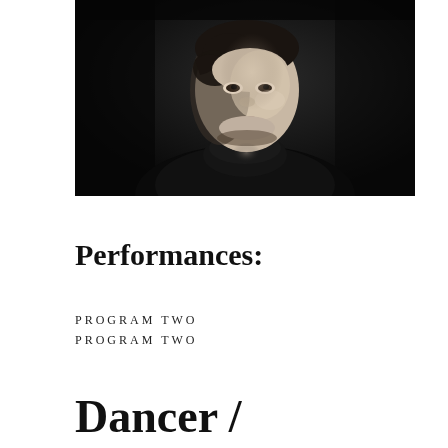[Figure (photo): Black and white portrait photo of a young woman with short brown hair, wearing a black turtleneck sweater, against a dark background. She is looking slightly to the side with a neutral expression.]
Performances:
PROGRAM TWO
PROGRAM TWO
Dancer /